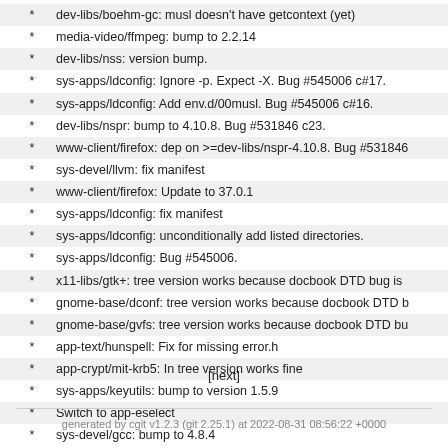* dev-libs/boehm-gc: musl doesn't have getcontext (yet)
* media-video/ffmpeg: bump to 2.2.14
* dev-libs/nss: version bump.
* sys-apps/ldconfig: Ignore -p. Expect -X. Bug #545006 c#17.
* sys-apps/ldconfig: Add env.d/00musl. Bug #545006 c#16.
* dev-libs/nspr: bump to 4.10.8. Bug #531846 c23.
* www-client/firefox: dep on >=dev-libs/nspr-4.10.8. Bug #531846
* sys-devel/llvm: fix manifest
* www-client/firefox: Update to 37.0.1
* sys-apps/ldconfig: fix manifest
* sys-apps/ldconfig: unconditionally add listed directories.
* sys-apps/ldconfig: Bug #545006.
* x11-libs/gtk+: tree version works because docbook DTD bug is
* gnome-base/dconf: tree version works because docbook DTD b
* gnome-base/gvfs: tree version works because docbook DTD bu
* app-text/hunspell: Fix for missing error.h
* app-crypt/mit-krb5: In tree version works fine
* sys-apps/keyutils: bump to version 1.5.9
* Switch to app-eselect
* sys-devel/gcc: bump to 4.8.4
[next]
generated by cgit v1.2.3 (git 2.25.1) at 2022-08-31 08:56:22 +0000